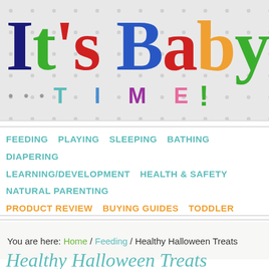[Figure (logo): It's Baby TIME logo with colorful letters on polka dot gray background]
FEEDING  PLAYING  SLEEPING  BATHING  DIAPERING  LEARNING/DEVELOPMENT  HEALTH & SAFETY  NATURAL PARENTING  PRODUCT REVIEW  BUYING GUIDES  TODDLER ZONE  HOW-TO'S  MY WISH LIST  JUST FOR MOM
You are here: Home / Feeding / Healthy Halloween Treats
Healthy Halloween Treats